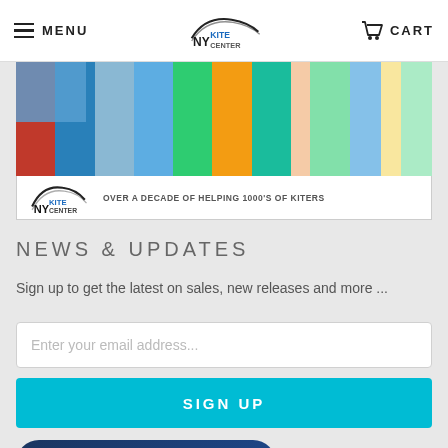MENU | NY KITE CENTER | CART
[Figure (photo): Banner photo showing kiteboards and kite equipment in colorful display, with NY Kite Center logo bar below reading 'OVER A DECADE OF HELPING 1000'S OF KITERS']
NEWS & UPDATES
Sign up to get the latest on sales, new releases and more ...
Enter your email address...
SIGN UP
[Figure (logo): IKO Kite Center badge logo on dark blue rounded rectangle background]